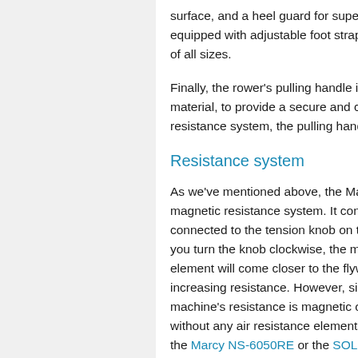surface, and a heel guard for superior foot stability, equipped with adjustable foot straps. They're large enough for feet of all sizes.
Finally, the rower's pulling handle is a short bar made of quality material, to provide a secure and comfortable grip. Connected to the resistance system, the pulling handle is attached...
Resistance system
As we've mentioned above, the Marcy NS-4050 uses a magnetic resistance system. It consists of a metal element connected to the tension knob on top of the PVC housing. When you turn the knob clockwise, the magnetic element will come closer to the flywheel, increasing resistance. However, since the machine's resistance is magnetic only, without any air resistance elements, such as the Marcy NS-6050RE or the SOLE SR500,